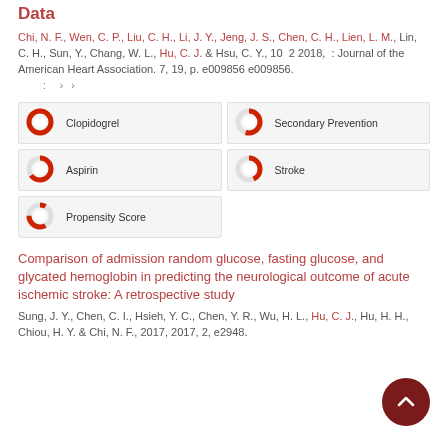Data
Chi, N. F., Wen, C. P., Liu, C. H., Li, J. Y., Jeng, J. S., Chen, C. H., Lien, L. M., Lin, C. H., Sun, Y., Chang, W. L., Hu, C. J. & Hsu, C. Y., 10 2 2018, : Journal of the American Heart Association. 7, 19, p. e009856 e009856.
Clopidogrel
Secondary Prevention
Aspirin
Stroke
Propensity Score
Comparison of admission random glucose, fasting glucose, and glycated hemoglobin in predicting the neurological outcome of acute ischemic stroke: A retrospective study
Sung, J. Y., Chen, C. I., Hsieh, Y. C., Chen, Y. R., Wu, H. L., Hu, C. J., Hu, H. H., Chiou, H. Y. & Chi, N. F., 2017, 2017, 2, e2948.